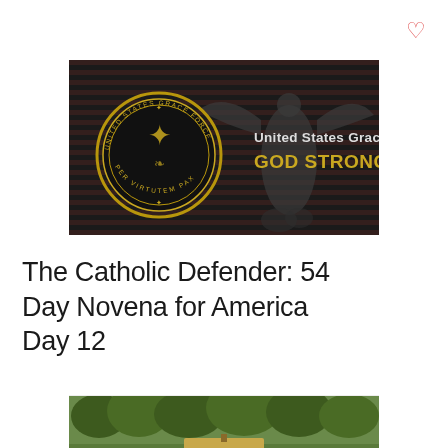[Figure (logo): United States Grace Force GOD STRONG banner image with circular seal and angel statue on dark background with American flag]
The Catholic Defender: 54 Day Novena for America Day 12
[Figure (photo): Bottom portion of an outdoor photo showing trees and what appears to be a sign]